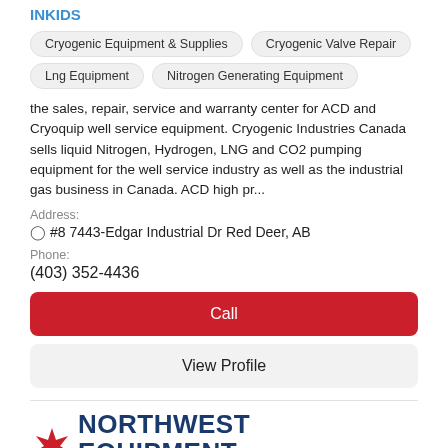INKIDS
Cryogenic Equipment & Supplies
Cryogenic Valve Repair
Lng Equipment
Nitrogen Generating Equipment
the sales, repair, service and warranty center for ACD and Cryoquip well service equipment. Cryogenic Industries Canada sells liquid Nitrogen, Hydrogen, LNG and CO2 pumping equipment for the well service industry as well as the industrial gas business in Canada. ACD high pr...
Address:
#8 7443-Edgar Industrial Dr Red Deer, AB
Phone:
(403) 352-4436
Call
View Profile
[Figure (logo): Northwest Equipment Ltd. logo with red maple leaf and dark blue bold text]